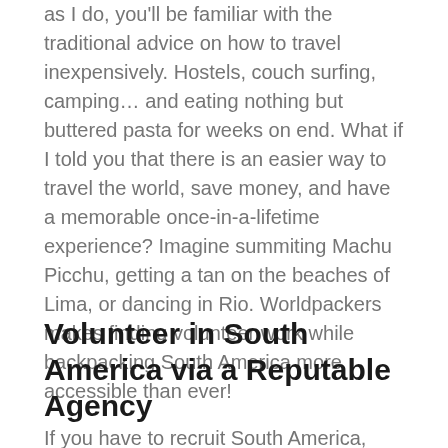as I do, you'll be familiar with the traditional advice on how to travel inexpensively. Hostels, couch surfing, camping… and eating nothing but buttered pasta for weeks on end. What if I told you that there is an easier way to travel the world, save money, and have a memorable once-in-a-lifetime experience? Imagine summiting Machu Picchu, getting a tan on the beaches of Lima, or dancing in Rio. Worldpackers makes finding volunteer work while backpacking South America more accessible than ever!
Volunteer in South America via a Reputable Agency
If you have to recruit South America, you should like